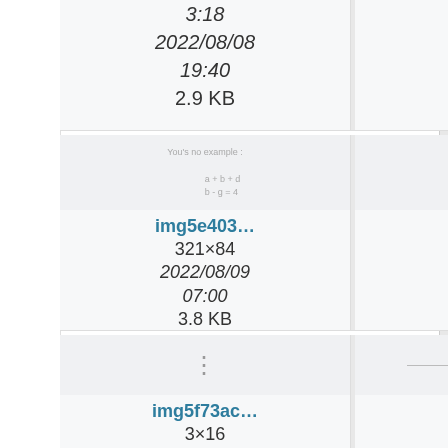[Figure (screenshot): File browser grid showing image thumbnails with filenames, dimensions, dates, and file sizes. Partial top row shows two cells with dates 2022/08/08 19:40, 2.9 KB and 2022/08/08 19:41, 2.9 KB. Middle row shows img5e403... (321x84, 2022/08/09 07:00, 3.8 KB) and img5ea56... (13x18, 2022/08/10 07:02, 2.9 KB). Bottom row shows img5f73ac... (3x16, 2022/08/08) and img5f4967... (562x19, 2022/08/17).]